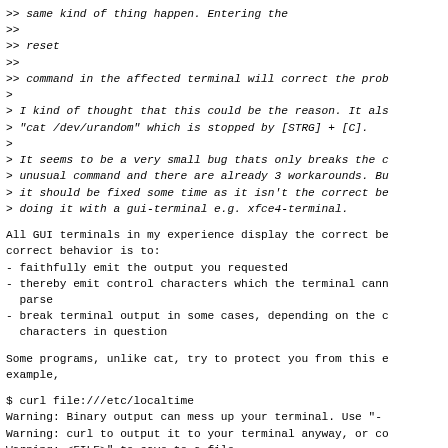>> same kind of thing happen. Entering the
>>
>> reset
>>
>> command in the affected terminal will correct the prob
>
> I kind of thought that this could be the reason. It als
> "cat /dev/urandom" which is stopped by [STRG] + [C].
>
> It seems to be a very small bug thats only breaks the c
> unusual command and there are already 3 workarounds. Bu
> it should be fixed some time as it isn't the correct be
> doing it with a gui-terminal e.g. xfce4-terminal.
All GUI terminals in my experience display the correct be
correct behavior is to:
- faithfully emit the output you requested
- thereby emit control characters which the terminal cann
  parse
- break terminal output in some cases, depending on the c
  characters in question
Some programs, unlike cat, try to protect you from this e
example,
$ curl file:///etc/localtime
Warning: Binary output can mess up your terminal. Use "-
Warning: curl to output it to your terminal anyway, or co
Warning: <FILE>" to save to a file.